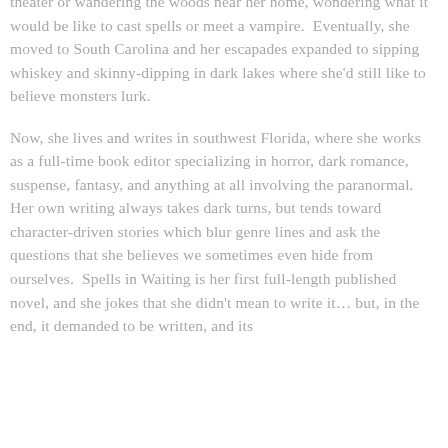theater or wandering the woods near her home, wondering what it would be like to cast spells or meet a vampire.  Eventually, she moved to South Carolina and her escapades expanded to sipping whiskey and skinny-dipping in dark lakes where she'd still like to believe monsters lurk.

Now, she lives and writes in southwest Florida, where she works as a full-time book editor specializing in horror, dark romance, suspense, fantasy, and anything at all involving the paranormal.  Her own writing always takes dark turns, but tends toward character-driven stories which blur genre lines and ask the questions that she believes we sometimes even hide from ourselves.  Spells in Waiting is her first full-length published novel, and she jokes that she didn't mean to write it… but, in the end, it demanded to be written, and its